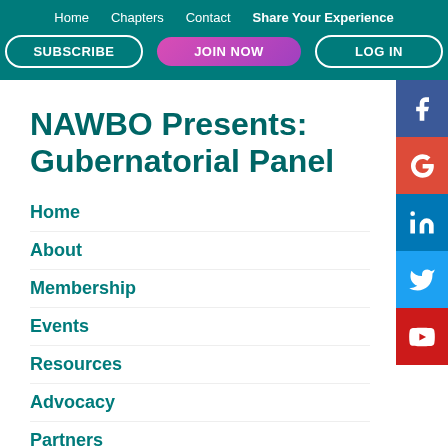Home  Chapters  Contact  Share Your Experience  SUBSCRIBE  JOIN NOW  LOG IN
NAWBO Presents: Gubernatorial Panel
Home
About
Membership
Events
Resources
Advocacy
Partners